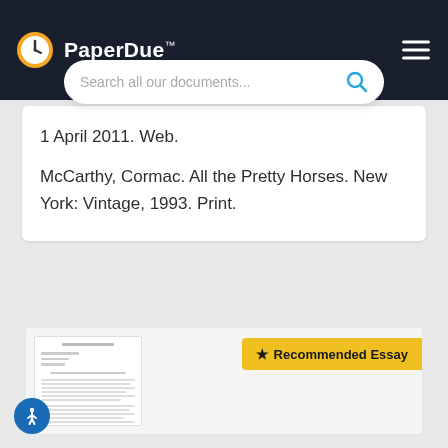PaperDue™
Search all our documents...
1 April 2011. Web.
McCarthy, Cormac. All the Pretty Horses. New York: Vintage, 1993. Print.
[Figure (screenshot): Recommended Essay document preview card with thumbnail of a document page]
★ Recommended Essay